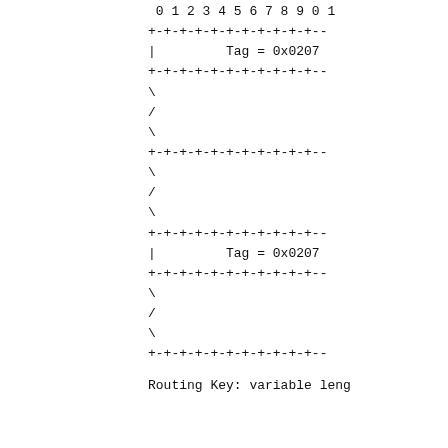[Figure (schematic): Protocol packet field diagram showing bit layout with Tag = 0x0207 fields, separator lines using +-+-+- notation, and continuation markers using backslash and forward-slash lines. Two Tag fields visible with repeated structural pattern.]
Routing Key: variable leng